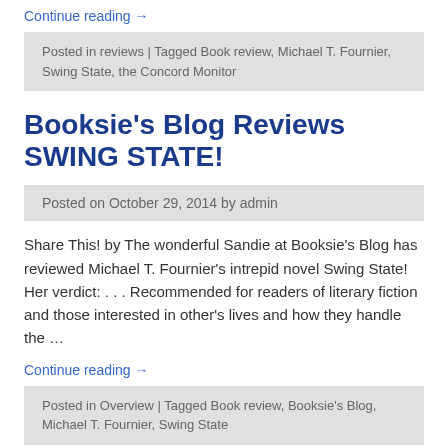Continue reading →
Posted in reviews | Tagged Book review, Michael T. Fournier, Swing State, the Concord Monitor
Booksie's Blog Reviews SWING STATE!
Posted on October 29, 2014 by admin
Share This! by The wonderful Sandie at Booksie's Blog has reviewed Michael T. Fournier's intrepid novel Swing State! Her verdict: . . . Recommended for readers of literary fiction and those interested in other's lives and how they handle the …
Continue reading →
Posted in Overview | Tagged Book review, Booksie's Blog, Michael T. Fournier, Swing State
Sparkling Review of SIGN LANGUAGE on Culture Catch